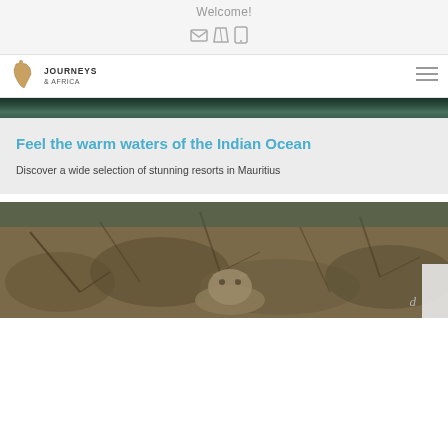Welcome!
[Figure (illustration): Three icons: envelope/home, map, mobile phone]
[Figure (logo): Journeys & Africa logo with giraffe/africa silhouette]
[Figure (illustration): Hamburger menu icon]
[Figure (photo): Top portion of a nature/water scene]
Feel the warm waters of the Indian Ocean
Discover a wide selection of stunning resorts in Mauritius
[Figure (photo): Bottom portion showing a wild cat (leopard/caracal) among dry brush/foliage on the ground]